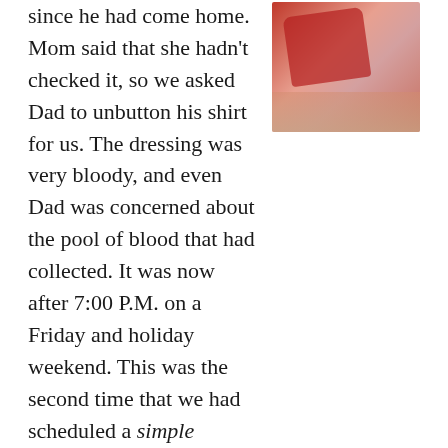since he had come home. Mom said that she hadn't checked it, so we asked Dad to unbutton his shirt for us. The dressing was very bloody, and even Dad was concerned about the pool of blood that had collected. It was now after 7:00 P.M. on a Friday and holiday weekend. This was the second time that we had scheduled a simple procedure on a holiday weekend, which made me question our sanity.
[Figure (photo): A red velvet or cloth item, possibly a pillow or cushion, photographed against a warm beige/skin-toned background.]
We located the papers that the nurse gave Dad when he was discharged. I called the after-hours phone number and asked to speak with the on-call IR resident. After being connected to Dr. Jeffrey Rhea, he asked me a series of questions to help him decide our best course of action. I asked him if I could text him a photo of the dressing...